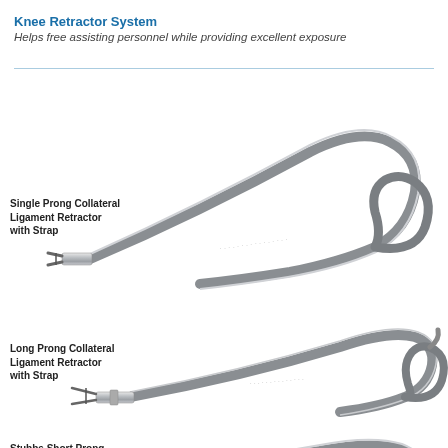Knee Retractor System
Helps free assisting personnel while providing excellent exposure
[Figure (photo): Three surgical knee retractors: Single Prong Collateral Ligament Retractor with Strap (top), Long Prong Collateral Ligament Retractor with Strap (middle), and Stubbs Short Prong Collateral Ligament Retractor with Strap (bottom). Each retractor is a curved, hook-shaped stainless steel instrument with a pronged end and a strap attachment.]
Single Prong Collateral Ligament Retractor with Strap
Long Prong Collateral Ligament Retractor with Strap
Stubbs Short Prong Collateral Ligament Retractor with Strap